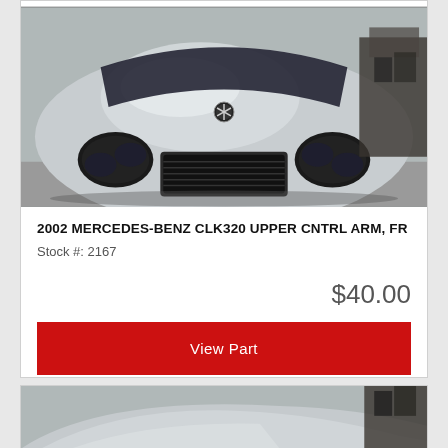[Figure (photo): Front view of a silver 2002 Mercedes-Benz CLK320, showing the hood, headlights, grille, and Mercedes-Benz star logo on the hood ornament. The car appears to be at a salvage yard.]
2002 MERCEDES-BENZ CLK320 UPPER CNTRL ARM, FR
Stock #: 2167
$40.00
View Part
[Figure (photo): Partial front/hood view of a silver Mercedes-Benz CLK320 at a salvage yard, cropped at the bottom of the page.]